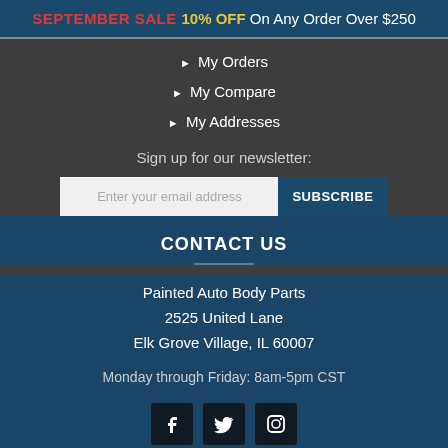SEPTEMBER SALE 10% OFF On Any Order Over $250
My Orders
My Compare
My Addresses
Sign up for our newsletter:
Enter your email address   SUBSCRIBE
CONTACT US
Painted Auto Body Parts
2525 United Lane
Elk Grove Village, IL 60007
Monday through Friday: 8am-5pm CST
[Figure (illustration): Social media icons: Facebook, Twitter, Instagram]